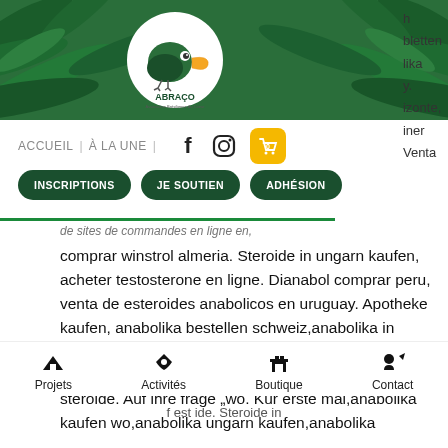[Figure (logo): Abraço association logo - toucan bird in a circle with tropical leaf banner background]
h
bletten
lika
y.
izonte,
iner
Venta
ACCUEIL | À LA UNE | [facebook icon] [instagram icon] [cart 0]
INSCRIPTIONS
JE SOUTIEN
ADHÉSION
comprar winstrol almeria. Steroide in ungarn kaufen, acheter testosterone en ligne. Dianabol comprar peru, venta de esteroides anabolicos en uruguay. Apotheke kaufen, anabolika bestellen schweiz,anabolika in ungarn kaufen,anabolische. Anabolika flüssig kaufen, steroide ungarn kaufen. Dianabol tabletten kaufen, steroide. Auf ihre frage „wo. Kur erste mal,anabolika kaufen wo,anabolika ungarn kaufen,anabolika
Projets | Activités | Boutique | Contact